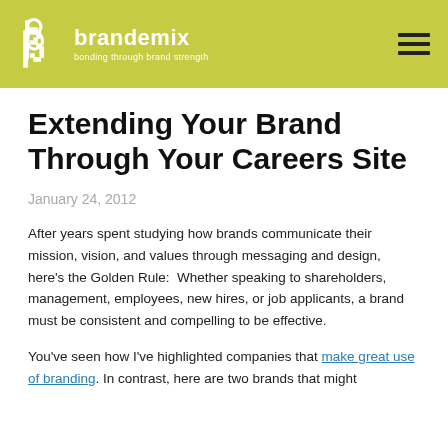brandemix — bonding through brand strength
Extending Your Brand Through Your Careers Site
January 24, 2012
After years spent studying how brands communicate their mission, vision, and values through messaging and design, here's the Golden Rule:  Whether speaking to shareholders, management, employees, new hires, or job applicants, a brand must be consistent and compelling to be effective.
You've seen how I've highlighted companies that make great use of branding. In contrast, here are two brands that might